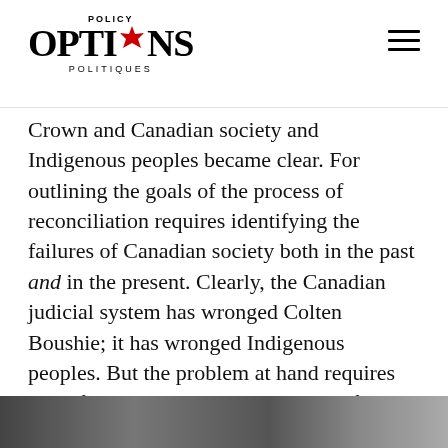POLICY OPTIONS POLITIQUES
Crown and Canadian society and Indigenous peoples became clear. For outlining the goals of the process of reconciliation requires identifying the failures of Canadian society both in the past and in the present. Clearly, the Canadian judicial system has wronged Colten Boushie; it has wronged Indigenous peoples. But the problem at hand requires identifying where the wrongs — the failures of recognition and, by extension, reconciliation — occur.
[Figure (photo): Partial view of a photograph at the bottom of the page, partially cropped]